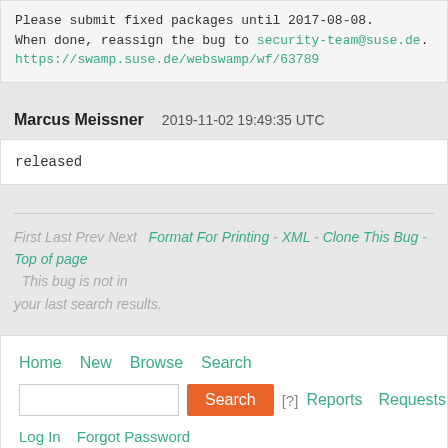Please submit fixed packages until 2017-08-08.
When done, reassign the bug to security-team@suse.de.
https://swamp.suse.de/webswamp/wf/63789
Marcus Meissner   2019-11-02 19:49:35 UTC
released
First Last Prev Next   Format For Printing - XML - Clone This Bug - Top of page
  This bug is not in
your last search results.
Home  New  Browse  Search
Search  [?]  Reports  Requests  Help
Log In  Forgot Password
Legal: openSUSE  SUSE